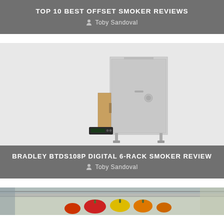TOP 10 BEST OFFSET SMOKER REVIEWS
Toby Sandoval
[Figure (photo): Bradley BTDS108P Digital 6-Rack Smoker product photo on grey background]
BRADLEY BTDS108P DIGITAL 6-RACK SMOKER REVIEW
Toby Sandoval
[Figure (photo): Partial view of an outdoor smoker with colorful peppers inside]